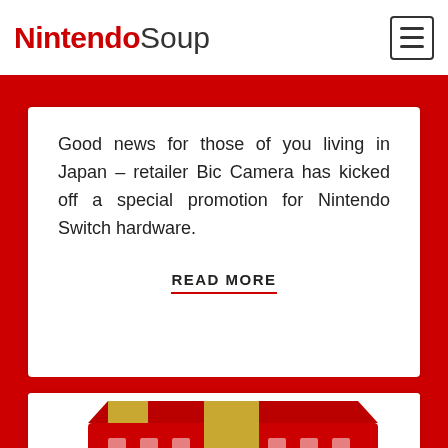NintendoSoup
Good news for those of you living in Japan – retailer Bic Camera has kicked off a special promotion for Nintendo Switch hardware.
READ MORE
[Figure (photo): Nintendo Switch gift box wrapped in red paper with white Nintendo Switch icons and a gold ribbon, featuring a Nintendo Switch logo tag]